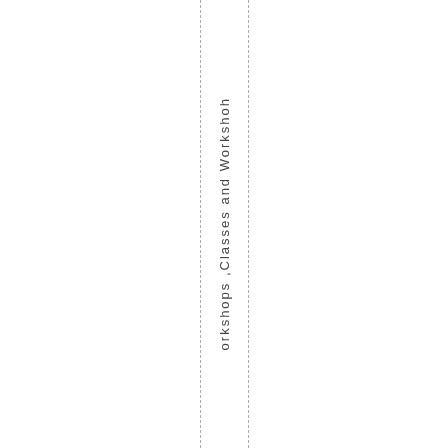orkshops ,Classes and Workshops h